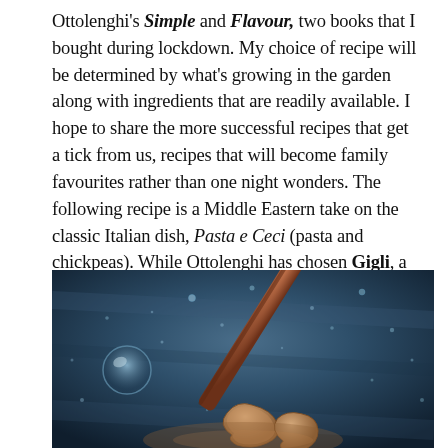Ottolenghi's Simple and Flavour, two books that I bought during lockdown. My choice of recipe will be determined by what's growing in the garden along with ingredients that are readily available. I hope to share the more successful recipes that get a tick from us, recipes that will become family favourites rather than one night wonders. The following recipe is a Middle Eastern take on the classic Italian dish, Pasta e Ceci (pasta and chickpeas). While Ottolenghi has chosen Gigli, a wavy pasta that means 'lillies' in Italian, any short pasta of a similar size and shape may be substituted. I chose casareccia, a good sauce carrying pasta shape that I keep on hand.
[Figure (photo): Close-up food photo on dark blue background showing pasta (casareccia) with sauce, a wooden spoon, and water droplets scattered across the surface.]